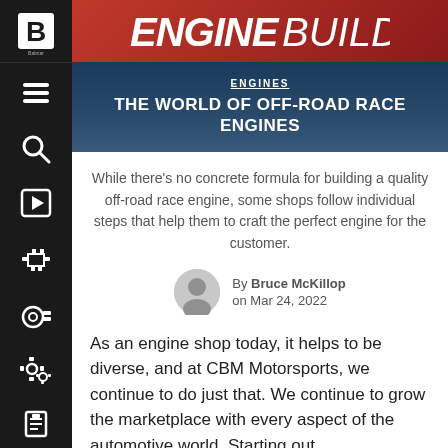ENGINE BUILDER
ENGINES
THE WORLD OF OFF-ROAD RACE ENGINES
While there's no concrete formula for building a quality off-road race engine, some shops follow individual steps that help them to craft the perfect engine for the customer.
By Bruce McKillop on Mar 24, 2022
As an engine shop today, it helps to be diverse, and at CBM Motorsports, we continue to do just that. We continue to grow the marketplace with every aspect of the automotive world. Starting out